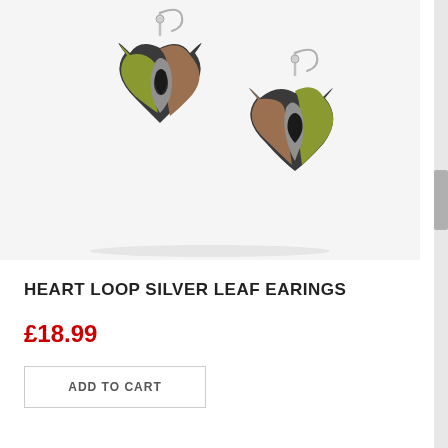[Figure (photo): Two heart-shaped dangle earrings with silver hooks. Each earring features a multi-toned heart charm with olive/yellow-green metallic, bronze/copper, and dark gunmetal sections. One earring is shown slightly above and to the left, the other below and to the right, both suspended from silver fish-hook ear wires.]
HEART LOOP SILVER LEAF EARINGS
£18.99
ADD TO CART